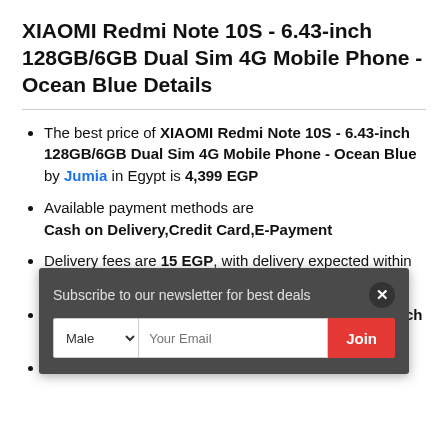XIAOMI Redmi Note 10S - 6.43-inch 128GB/6GB Dual Sim 4G Mobile Phone - Ocean Blue Details
The best price of XIAOMI Redmi Note 10S - 6.43-inch 128GB/6GB Dual Sim 4G Mobile Phone - Ocean Blue by Jumia in Egypt is 4,399 EGP
Available payment methods are Cash on Delivery,Credit Card,E-Payment
Delivery fees are 15 EGP, with delivery expected within 2-5 day(s)
Similar products to XIAOMI Redmi Note 10S - 6.43-inch 128GB/6GB Dual Sim 4G Mobile Phone - Ocean Blue [price partially obscured]
The [partially obscured] Jun
[Figure (screenshot): Newsletter subscription popup overlay with dark background, showing 'Subscribe to our newsletter for best deals' text, a close (x) button, a gender select dropdown set to 'Male', a 'Your Email' input field, and a red 'Join' button.]